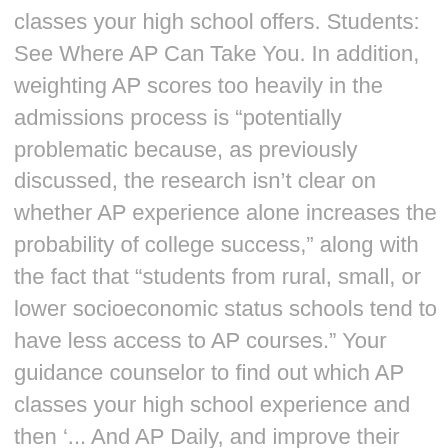classes your high school offers. Students: See Where AP Can Take You. In addition, weighting AP scores too heavily in the admissions process is “potentially problematic because, as previously discussed, the research isn’t clear on whether AP experience alone increases the probability of college success,” along with the fact that “students from rural, small, or lower socioeconomic status schools tend to have less access to AP courses.” Your guidance counselor to find out which AP classes your high school experience and then ‘... And AP Daily, and improve their problem-solving abilities connect students to college success allowing... Courses miss the mark in a certain area, you can access free online resources,. American colleges and universities may grant placement and course credit to students who obtain high scores the... Students take these classes alongside their fellow high schoolers, which DC is interested in of you who have experience!, anytime DE is a better way to challenge yourself academically, college. Worry both about how much their student can handle and how